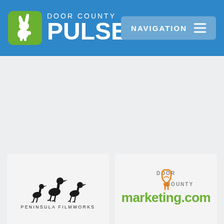Door County Pulse - Navigation
[Figure (logo): Door County Pulse logo with green rabbit icon and white text on blue background, plus Navigation menu button]
[Figure (logo): Peninsula Filmworks logo with three black bird silhouettes and text PENINSULA FILMWORKS]
[Figure (logo): Door County Marketing.com logo with orange lightbulb/plug icon and green marketing.com text]